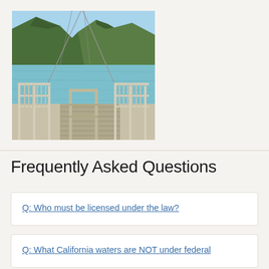[Figure (photo): Photo of a dock/pier with metal railing in the foreground, turquoise-blue lake water in the middle ground, and forested mountains in the background under a blue sky.]
Frequently Asked Questions
Q: Who must be licensed under the law?
Q: What California waters are NOT under federal